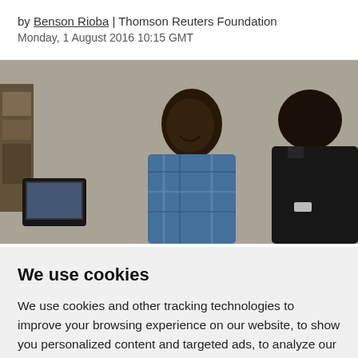by Benson Rioba | Thomson Reuters Foundation
Monday, 1 August 2016 10:15 GMT
[Figure (photo): Two men sitting against a grey concrete wall. The man in the center wears a blue plaid shirt and is smiling. The man on the right wears a black shirt. A laptop or screen is visible on the left side.]
We use cookies
We use cookies and other tracking technologies to improve your browsing experience on our website, to show you personalized content and targeted ads, to analyze our website traffic, and to understand where our visitors are coming from.